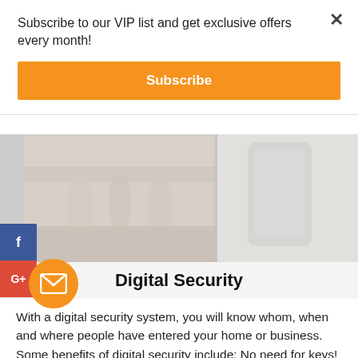Subscribe to our VIP list and get exclusive offers every month!
Subscribe
[Figure (photo): Blurred photo of a table setting with white tablecloth, glasses and dinnerware on the left; blurred device/phone image on the right]
Digital Security
With a digital security system, you will know whom, when and where people have entered your home or business.  Some benefits of digital security include:  No need for keys! Simply touch a button or swipe a key fob.